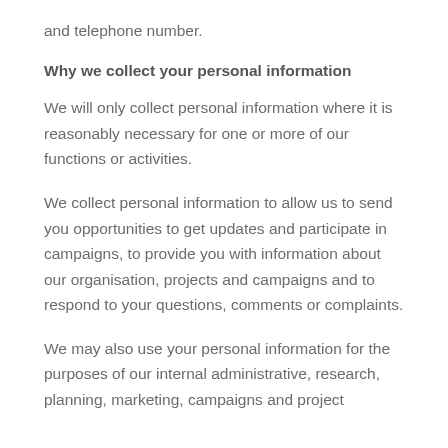and telephone number.
Why we collect your personal information
We will only collect personal information where it is reasonably necessary for one or more of our functions or activities.
We collect personal information to allow us to send you opportunities to get updates and participate in campaigns, to provide you with information about our organisation, projects and campaigns and to respond to your questions, comments or complaints.
We may also use your personal information for the purposes of our internal administrative, research, planning, marketing, campaigns and project